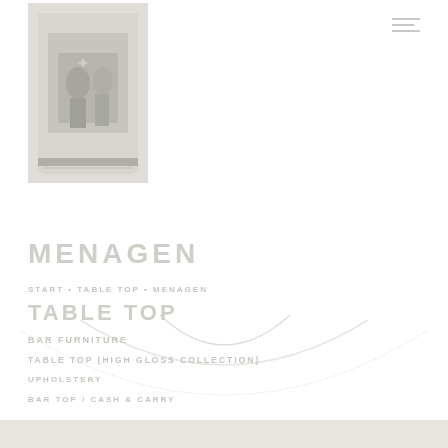[Figure (photo): A grayscale photo of figures/people in a faded, washed-out style]
≡ (hamburger menu icon)
MENAGEN
START • TABLE TOP • MENAGEN
[Figure (illustration): A decorative arc or smile shape spanning the mid-lower section of the page]
TABLE TOP
Bar Furniture
Table Top (High Gloss Collection)
Upholstery
Bar Top / Cash & Carry